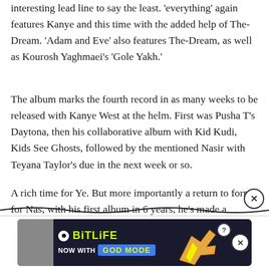interesting lead line to say the least. 'everything' again features Kanye and this time with the added help of The-Dream. 'Adam and Eve' also features The-Dream, as well as Kourosh Yaghmaei's 'Gole Yakh.'
The album marks the fourth record in as many weeks to be released with Kanye West at the helm. First was Pusha T's Daytona, then his collaborative album with Kid Kudi, Kids See Ghosts, followed by the mentioned Nasir with Teyana Taylor's due in the next week or so.
A rich time for Ye. But more importantly a return to form for Nas, with his first album in 6 years, he's made a statement of intent on this one.
[Figure (screenshot): Advertisement banner for BitLife game showing 'NOW WITH GOD MODE' text with a pointing hand graphic]